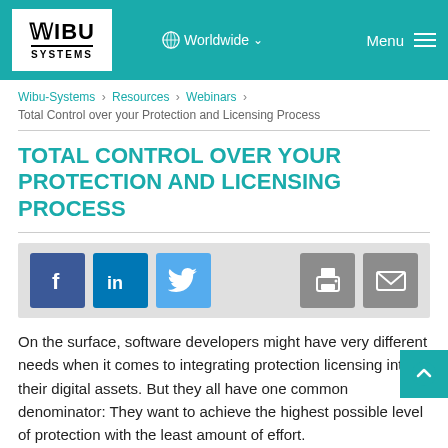WIBU SYSTEMS | Worldwide | Menu
Wibu-Systems › Resources › Webinars ›
Total Control over your Protection and Licensing Process
TOTAL CONTROL OVER YOUR PROTECTION AND LICENSING PROCESS
[Figure (infographic): Social sharing bar with Facebook, LinkedIn, Twitter, Print, and Email buttons]
On the surface, software developers might have very different needs when it comes to integrating protection licensing into their digital assets. But they all have one common denominator: They want to achieve the highest possible level of protection with the least amount of effort.